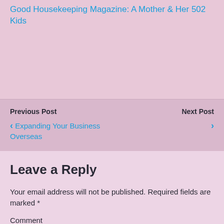Good Housekeeping Magazine: A Mother & Her 502 Kids
Previous Post
‹ Expanding Your Business Overseas
Next Post ›
Leave a Reply
Your email address will not be published. Required fields are marked *
Comment